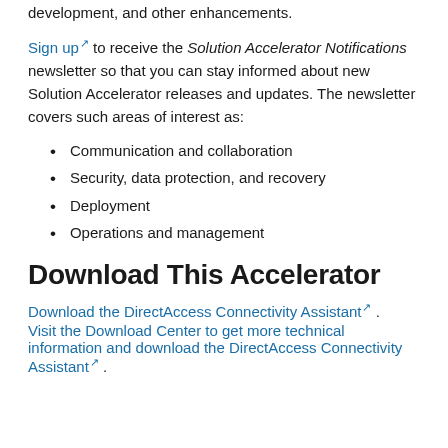development, and other enhancements.
Sign up to receive the Solution Accelerator Notifications newsletter so that you can stay informed about new Solution Accelerator releases and updates. The newsletter covers such areas of interest as:
Communication and collaboration
Security, data protection, and recovery
Deployment
Operations and management
Download This Accelerator
Download the DirectAccess Connectivity Assistant .
Visit the Download Center to get more technical information and download the DirectAccess Connectivity Assistant .